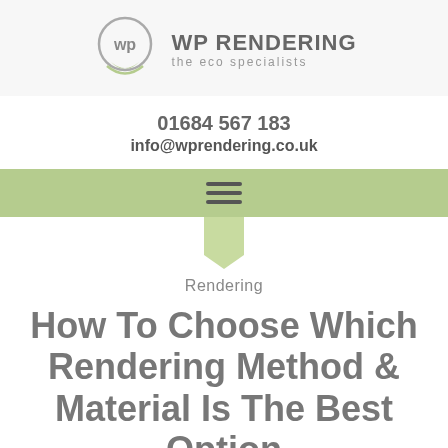WP RENDERING the eco specialists
01684 567 183
info@wprendering.co.uk
[Figure (illustration): Green navigation menu bar with hamburger icon (three horizontal lines) and a light green downward arrow/chevron below it]
Rendering
How To Choose Which Rendering Method & Material Is The Best Option